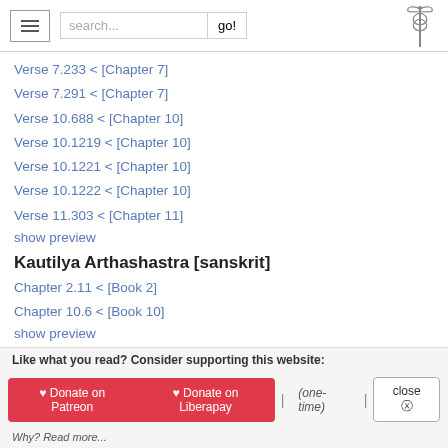search... go!
Verse 7.233 < [Chapter 7]
Verse 7.291 < [Chapter 7]
Verse 10.688 < [Chapter 10]
Verse 10.1219 < [Chapter 10]
Verse 10.1221 < [Chapter 10]
Verse 10.1222 < [Chapter 10]
Verse 11.303 < [Chapter 11]
show preview
Kautilya Arthashastra [sanskrit]
Chapter 2.11 < [Book 2]
Chapter 10.6 < [Book 10]
show preview
Brihat-katha-shloka-samgraha [sanskrit]
Verse 15.25 < [Chapter 15]
show preview
Like what you read? Consider supporting this website: Donate on Patreon | Donate on Liberapay | (one-time) | close Why? Read more...